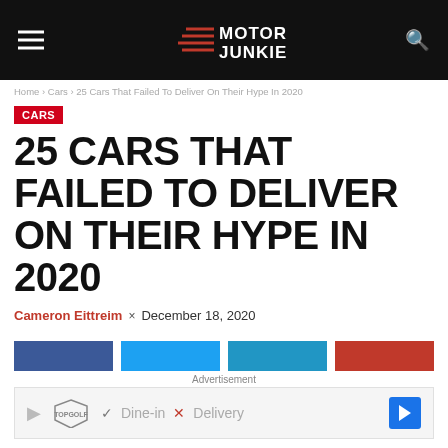Motor Junkie
Home > Cars > 25 Cars That Failed To Deliver On Their Hype In 2020
CARS
25 CARS THAT FAILED TO DELIVER ON THEIR HYPE IN 2020
Cameron Eittreim × December 18, 2020
[Figure (other): Social sharing buttons: Facebook, Twitter, Pinterest, and a red button]
Advertisement
[Figure (other): Topgolf advertisement banner showing Dine-in and Delivery options with navigation arrow]